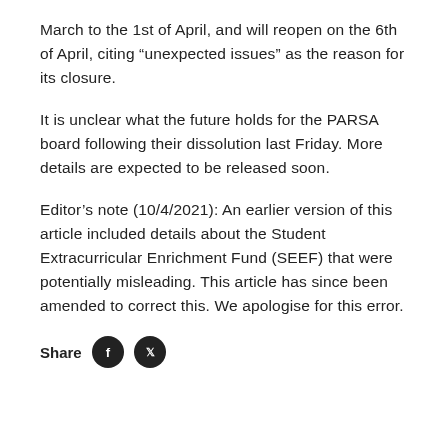March to the 1st of April, and will reopen on the 6th of April, citing “unexpected issues” as the reason for its closure.
It is unclear what the future holds for the PARSA board following their dissolution last Friday. More details are expected to be released soon.
Editor’s note (10/4/2021): An earlier version of this article included details about the Student Extracurricular Enrichment Fund (SEEF) that were potentially misleading. This article has since been amended to correct this. We apologise for this error.
Share